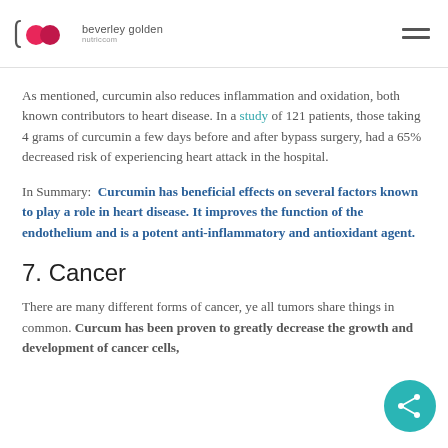beverley golden | nutriccom
As mentioned, curcumin also reduces inflammation and oxidation, both known contributors to heart disease. In a study of 121 patients, those taking 4 grams of curcumin a few days before and after bypass surgery, had a 65% decreased risk of experiencing heart attack in the hospital.
In Summary: Curcumin has beneficial effects on several factors known to play a role in heart disease. It improves the function of the endothelium and is a potent anti-inflammatory and antioxidant agent.
7. Cancer
There are many different forms of cancer, yet all tumors share things in common. Curcumin has been proven to greatly decrease the growth and development of cancer cells,